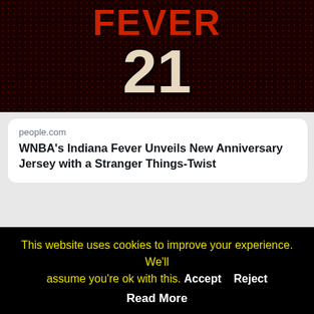[Figure (photo): Indiana Fever jersey image with number 21 and FEVER text in red on dark background with Stranger Things style typography]
people.com
WNBA's Indiana Fever Unveils New Anniversary Jersey with a Stranger Things-Twist
6:56 PM · Apr 8, 2021
455  Reply  Copy link
Read 4 replies
This website uses cookies to improve your experience. We'll assume you're ok with this.  Accept  Reject  Read More